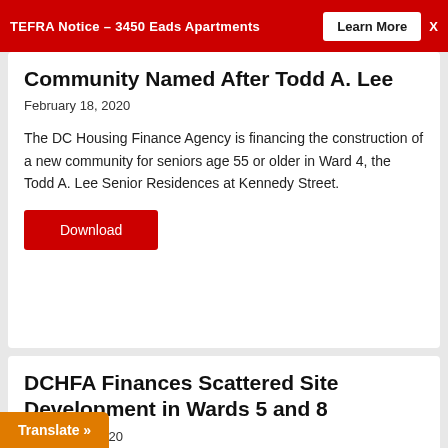TEFRA Notice – 3450 Eads Apartments  Learn More  X
Community Named After Todd A. Lee
February 18, 2020
The DC Housing Finance Agency is financing the construction of a new community for seniors age 55 or older in Ward 4, the Todd A. Lee Senior Residences at Kennedy Street.
Download
DCHFA Finances Scattered Site Development in Wards 5 and 8
February 3, 2020
The District of Columbia Housing Finance Agency (DCHFA) is financing the rehabilitation of two properties, Hanover Courts and Tivoli